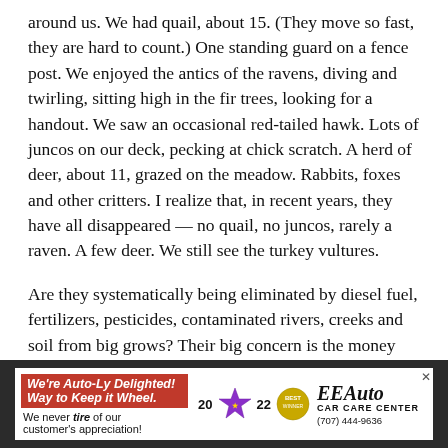around us. We had quail, about 15. (They move so fast, they are hard to count.) One standing guard on a fence post. We enjoyed the antics of the ravens, diving and twirling, sitting high in the fir trees, looking for a handout. We saw an occasional red-tailed hawk. Lots of juncos on our deck, pecking at chick scratch. A herd of deer, about 11, grazed on the meadow. Rabbits, foxes and other critters. I realize that, in recent years, they have all disappeared — no quail, no juncos, rarely a raven. A few deer. We still see the turkey vultures.
Are they systematically being eliminated by diesel fuel, fertilizers, pesticides, contaminated rivers, creeks and soil from big grows? Their big concern is the money coming in — both the growers and city and county officials,
[Figure (infographic): Advertisement banner: 'We're Auto-Ly Delighted! Way to Keep it Wheel.' with car care center logo, star badge, Best badge, year '2022', and phone number (707) 444-9636 for EE Auto Car Care Center. Red headline bar with italic text, close button X in top right.]